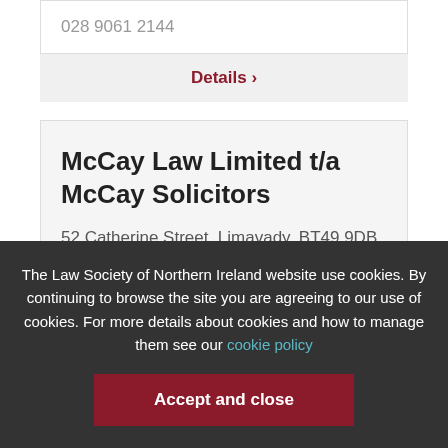028 9061 2144
Details >
McCay Law Limited t/a McCay Solicitors
52 Catherine Street, Limavady, BT49 9DB
The Law Society of Northern Ireland website use cookies. By continuing to browse the site you are agreeing to our use of cookies. For more details about cookies and how to manage them see our cookie policy
Accept and close